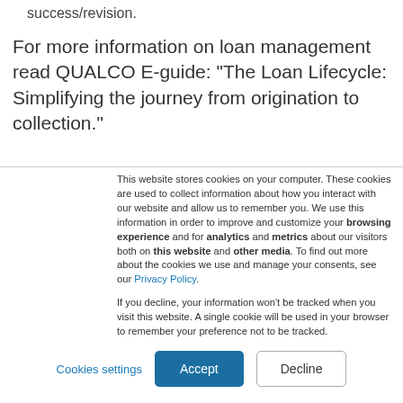success/revision.
For more information on loan management read QUALCO E-guide: “The Loan Lifecycle: Simplifying the journey from origination to collection.”
This website stores cookies on your computer. These cookies are used to collect information about how you interact with our website and allow us to remember you. We use this information in order to improve and customize your browsing experience and for analytics and metrics about our visitors both on this website and other media. To find out more about the cookies we use and manage your consents, see our Privacy Policy.
If you decline, your information won’t be tracked when you visit this website. A single cookie will be used in your browser to remember your preference not to be tracked.
Cookies settings
Accept
Decline